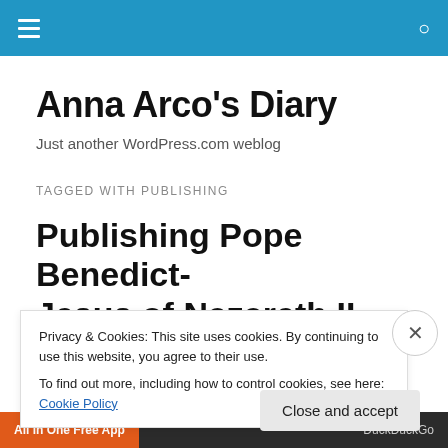Navigation bar with hamburger menu and search icon
Anna Arco's Diary
Just another WordPress.com weblog
TAGGED WITH PUBLISHING
Publishing Pope Benedict-Jesus of Nazareth II
Privacy & Cookies: This site uses cookies. By continuing to use this website, you agree to their use.
To find out more, including how to control cookies, see here: Cookie Policy
Close and accept